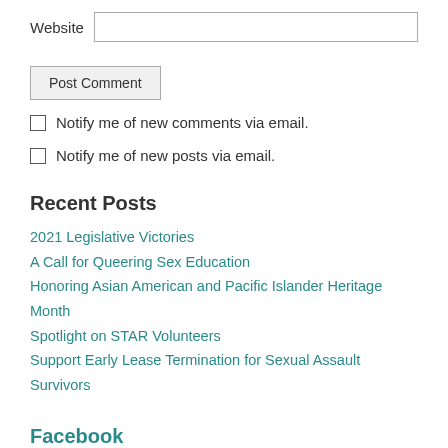Website [input field]
Post Comment
Notify me of new comments via email.
Notify me of new posts via email.
Recent Posts
2021 Legislative Victories
A Call for Queering Sex Education
Honoring Asian American and Pacific Islander Heritage Month
Spotlight on STAR Volunteers
Support Early Lease Termination for Sexual Assault Survivors
Facebook